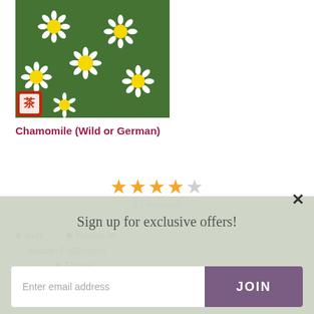[Figure (photo): Chamomile flowers (wild or German chamomile) — white petals with yellow centers on green foliage, with a seed packet logo in the lower left corner of the image.]
Chamomile (Wild or German)
[Figure (other): Star rating display: 4 filled orange stars and 1 empty star, with '13 Reviews' text below.]
Sun shade: Full sun
Grows in: Borders
Flower
Sign up for exclusive offers!
Enter email address
JOIN